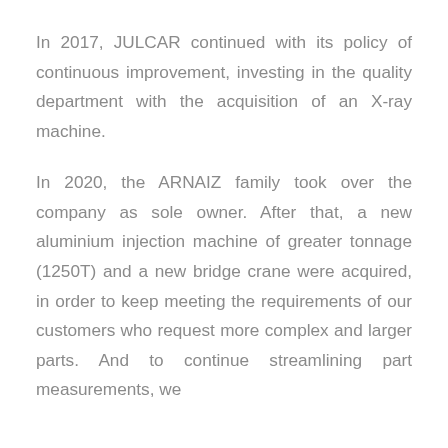In 2017, JULCAR continued with its policy of continuous improvement, investing in the quality department with the acquisition of an X-ray machine.
In 2020, the ARNAIZ family took over the company as sole owner. After that, a new aluminium injection machine of greater tonnage (1250T) and a new bridge crane were acquired, in order to keep meeting the requirements of our customers who request more complex and larger parts. And to continue streamlining part measurements, we